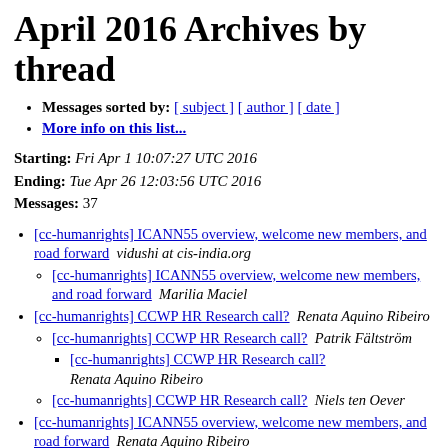April 2016 Archives by thread
Messages sorted by: [ subject ] [ author ] [ date ]
More info on this list...
Starting: Fri Apr 1 10:07:27 UTC 2016
Ending: Tue Apr 26 12:03:56 UTC 2016
Messages: 37
[cc-humanrights] ICANN55 overview, welcome new members, and road forward   vidushi at cis-india.org
[cc-humanrights] ICANN55 overview, welcome new members, and road forward   Marilia Maciel
[cc-humanrights] CCWP HR Research call?   Renata Aquino Ribeiro
[cc-humanrights] CCWP HR Research call?   Patrik Fältström
[cc-humanrights] CCWP HR Research call?   Renata Aquino Ribeiro
[cc-humanrights] CCWP HR Research call?   Niels ten Oever
[cc-humanrights] ICANN55 overview, welcome new members, and road forward   Renata Aquino Ribeiro
[cc-humanrights] ICANN55 overview, welcome new members, and road forward